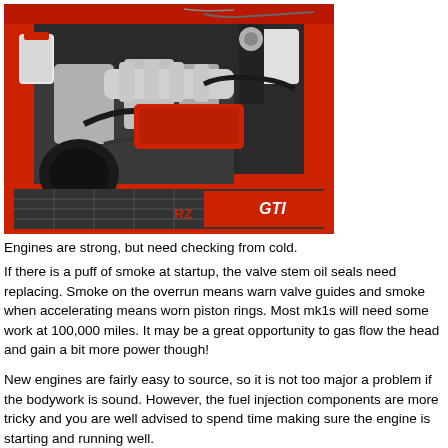[Figure (photo): Open engine bay of a red car (appears to be a Volkswagen Golf GTI mk1) showing a modified engine with chrome parts, intake manifold, and red chassis components. The front grille with GTI badging is visible at the bottom.]
Engines are strong, but need checking from cold.
If there is a puff of smoke at startup, the valve stem oil seals need replacing. Smoke on the overrun means warn valve guides and smoke when accelerating means worn piston rings. Most mk1s will need some work at 100,000 miles. It may be a great opportunity to gas flow the head and gain a bit more power though!
New engines are fairly easy to source, so it is not too major a problem if the bodywork is sound. However, the fuel injection components are more tricky and you are well advised to spend time making sure the engine is starting and running well.